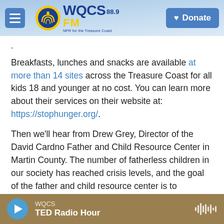WQCS 88.9 FM — NPR for the Treasure Coast | Donate
.
Breakfasts, lunches and snacks are available at more than 14 sites across the Treasure Coast for all kids 18 and younger at no cost. You can learn more about their services on their website at: https://stophunger.org/.
Then we'll hear from Drew Grey, Director of the David Cardno Father and Child Resource Center in Martin County. The number of fatherless children in our society has reached crisis levels, and the goal of the father and child resource center is to encourage men with children not to leave home, to
WQCS — TED Radio Hour